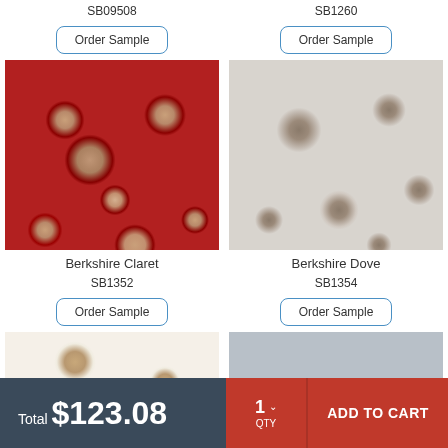SB09508
SB1260
Order Sample
Order Sample
[Figure (photo): Red floral fabric pattern - Berkshire Claret]
[Figure (photo): Grey/dove floral fabric pattern - Berkshire Dove]
Berkshire Claret
SB1352
Berkshire Dove
SB1354
Order Sample
Order Sample
[Figure (photo): Cream/beige floral fabric pattern (partial)]
[Figure (photo): Blue-grey fabric pattern (partial)]
Total $123.08
1 QTY
ADD TO CART